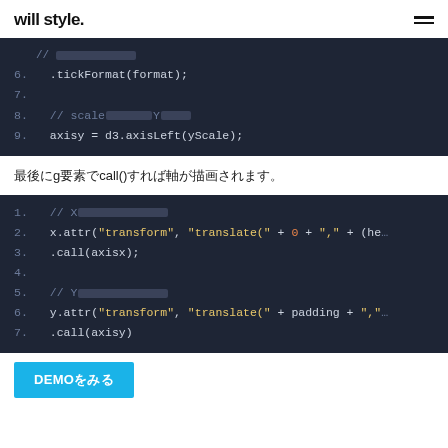will style.
[Figure (screenshot): Dark code block showing lines 6-9 of JavaScript code with D3.js axis formatting. Line 6: .tickFormat(format); Line 7: (empty) Line 8: // scale[boxes]Y[boxes] Line 9: axisy = d3.axisLeft(yScale);]
最後にg要素でcall()すれば軸が描画されます。
[Figure (screenshot): Dark code block showing lines 1-7 of JavaScript code. Line 1: // X[boxes] Line 2: x.attr("transform", "translate(" + 0 + "," + (hei Line 3: .call(axisx); Line 4: (empty) Line 5: // Y[boxes] Line 6: y.attr("transform", "translate(" + padding + "," Line 7: .call(axisy)]
DEMOをみる